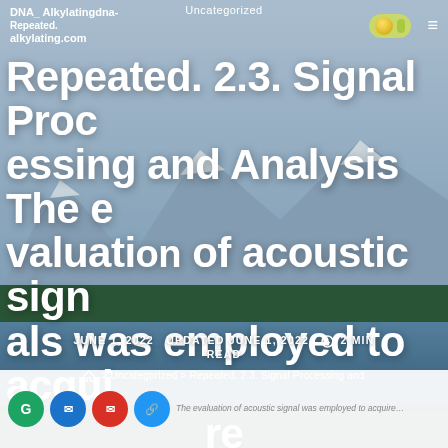Uncategorized
DNA_ Alkylatingdna-Repeated. 2.3. Signal Processing and Analysis The evaluation of acoustic signals was employed to acquire
JUNE 1, 2022   UPDATED JUNE 1, 2022   2 MIN READ
> Uncategorized > Repeated. 2.3. Signal Processing and
[Figure (screenshot): Bottom bar with share icons and partial blurred text]